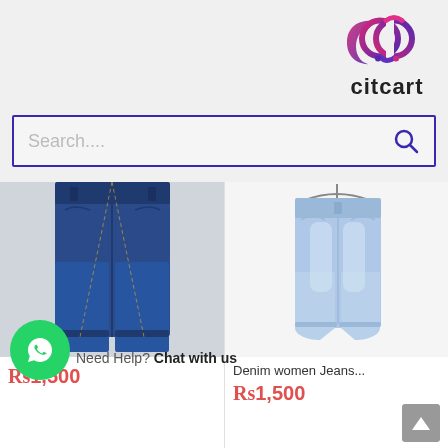[Figure (logo): citcart logo with stylized CC icon in pink/purple gradient and text 'citcart' in black]
Search...
[Figure (photo): Dark blue straight-leg denim jeans worn on a person, cropped at waist]
[Figure (photo): Light blue high-waisted balloon/tapered denim jeans on a hanger against white background]
Denim women Jeans...
Rs1,500
Rs1,500
Need Help? Chat with us